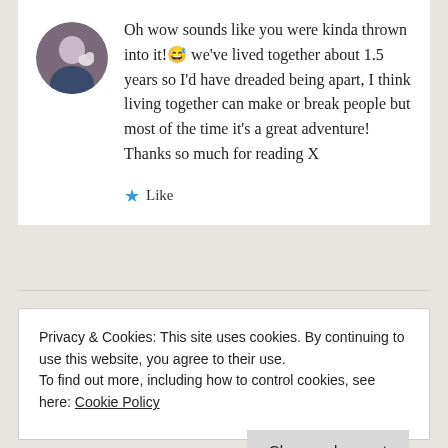Oh wow sounds like you were kinda thrown into it!😅 we've lived together about 1.5 years so I'd have dreaded being apart, I think living together can make or break people but most of the time it's a great adventure! Thanks so much for reading X
★ Like
Privacy & Cookies: This site uses cookies. By continuing to use this website, you agree to their use.
To find out more, including how to control cookies, see here: Cookie Policy
Close and accept